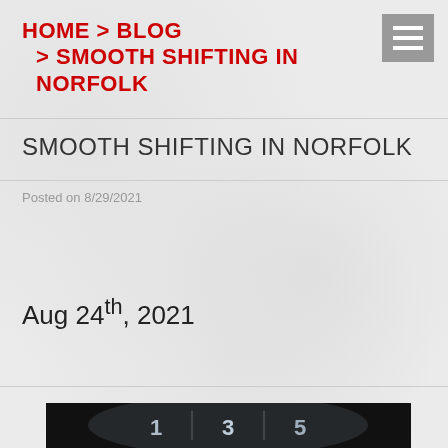HOME > BLOG > SMOOTH SHIFTING IN NORFOLK
SMOOTH SHIFTING IN NORFOLK
Posted on 8/29/2021
Aug 24th, 2021
[Figure (photo): Close-up photo of a manual gear shift knob showing gear numbers 1, 3, 5 illuminated in blue-white light against a dark background]